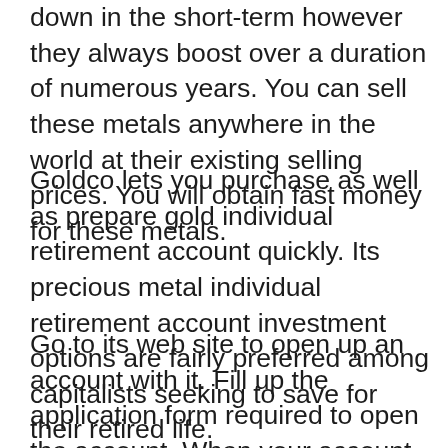down in the short-term however they always boost over a duration of numerous years. You can sell these metals anywhere in the world at their existing selling prices. You will obtain fast money for these metals.
Goldco lets you purchase as well as prepare gold individual retirement account quickly. Its precious metal individual retirement account investment options are fairly preferred among capitalists seeking to save for their retired life.
Go to its web site to open up an account with it. Fill up the application form required to open the account. When your account is open, you can deposit the fund in your gold individual retirement account quickly. After